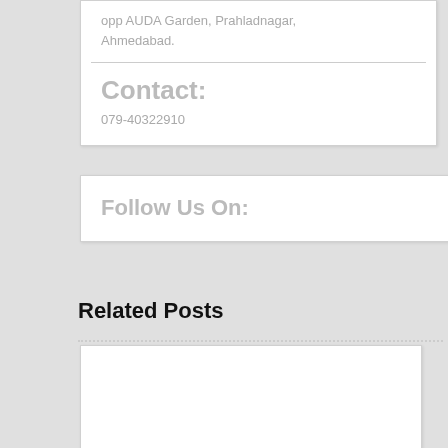opp AUDA Garden, Prahladnagar, Ahmedabad.
Contact:
079-40322910
Follow Us On:
Related Posts
[Figure (other): White rectangular box placeholder for a related post image or content]